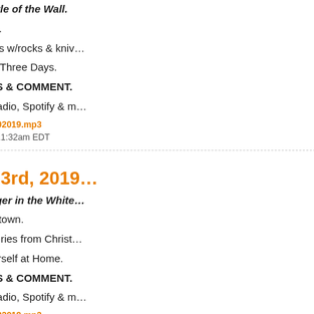Collusion. And the Battle of the Wall.
More signals from space.
Humans attack robot cars w/rocks & knives.
And: Three Days, Man—Three Days.
BUZZ BURBANK NEWS & COMMENT.
Free on iTunes, IHeartRadio, Spotify & more.
Direct download: BBNC_01102019.mp3
Category:News -- posted at: 11:32am EDT
Thu, 3 January 2019
January 3rd, 2019
A Clear & Present Danger in the White...
There's a new deputy in town.
Pictures from Space. Stories from Christ...
And: Please—Make Yourself at Home.
BUZZ BURBANK NEWS & COMMENT.
Free on iTunes, IHeartRadio, Spotify & more.
Direct download: BBNC_01032019.mp3
Category:News -- posted at: 11:11am EDT
Thu, 20 December 2018
December 20th, 2018